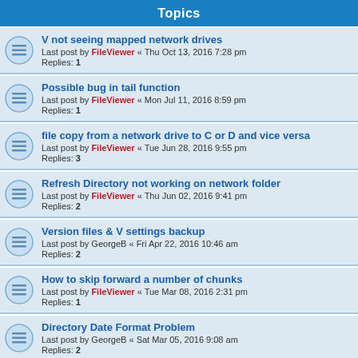Topics
V not seeing mapped network drives
Last post by FileViewer « Thu Oct 13, 2016 7:28 pm
Replies: 1
Possible bug in tail function
Last post by FileViewer « Mon Jul 11, 2016 8:59 pm
Replies: 1
file copy from a network drive to C or D and vice versa
Last post by FileViewer « Tue Jun 28, 2016 9:55 pm
Replies: 3
Refresh Directory not working on network folder
Last post by FileViewer « Thu Jun 02, 2016 9:41 pm
Replies: 2
Version files & V settings backup
Last post by GeorgeB « Fri Apr 22, 2016 10:46 am
Replies: 2
How to skip forward a number of chunks
Last post by FileViewer « Tue Mar 08, 2016 2:31 pm
Replies: 1
Directory Date Format Problem
Last post by GeorgeB « Sat Mar 05, 2016 9:08 am
Replies: 2
Unexpected jump to full screen window
Last post by FileViewer « Fri Jan 29, 2016 8:29 pm
Replies: 3
Full list of command-line args?
Last post by FileViewer « Tue Jan 26, 2016 3:28 pm
Replies: 1